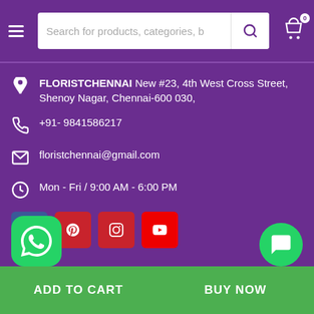Search for products, categories, b
FLORISTCHENNAI New #23, 4th West Cross Street, Shenoy Nagar, Chennai-600 030,
+91- 9841586217
floristchennai@gmail.com
Mon - Fri / 9:00 AM - 6:00 PM
[Figure (screenshot): Social media icons: Facebook, Pinterest, Instagram, YouTube]
[Figure (screenshot): WhatsApp floating button (green rounded square)]
[Figure (screenshot): Chat floating button (green circle)]
ADD TO CART    BUY NOW